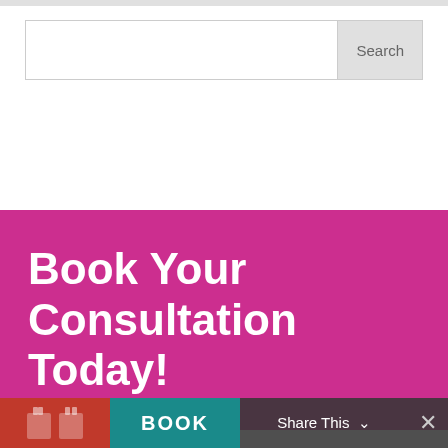[Figure (screenshot): Search input field with a light grey Search button on the right]
Book Your Consultation Today!
[Figure (screenshot): Bottom bar with red calendar icon area, teal BOOK button, Share This overlay with X close button]